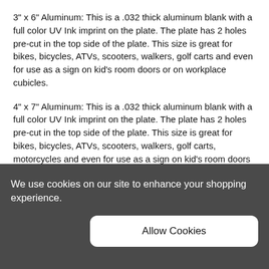3" x 6" Aluminum: This is a .032 thick aluminum blank with a full color UV Ink imprint on the plate. The plate has 2 holes pre-cut in the top side of the plate. This size is great for bikes, bicycles, ATVs, scooters, walkers, golf carts and even for use as a sign on kid's room doors or on workplace cubicles.
4" x 7" Aluminum: This is a .032 thick aluminum blank with a full color UV Ink imprint on the plate. The plate has 2 holes pre-cut in the top side of the plate. This size is great for bikes, bicycles, ATVs, scooters, walkers, golf carts, motorcycles and even for use as a sign on kid's room doors or on workplace cubicles.
6"x 12" Aluminum: This is a .032 thick aluminum blank with a full color UV Ink imprint on the plate. The plate has 4 holes pre-cut 2 upper and 2 lower. This is the standard size...
We use cookies on our site to enhance your shopping experience.